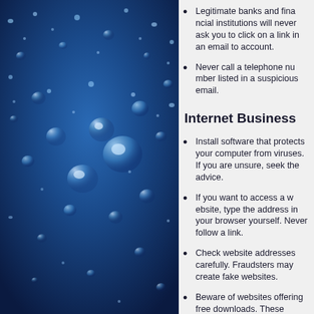[Figure (photo): Close-up macro photograph of blue water droplets on a dark blue surface, with varying sizes of droplets reflecting light.]
Legitimate banks and financial institutions will never ask you to click on a link in an email to access your account.
Never call a telephone number listed in a suspicious email.
Internet Business
Install software that protects your computer from viruses. If you are unsure, seek the advice of a computer technician.
If you want to access a website, type the address into your browser yourself. Never follow a link in an email.
Check website addresses carefully. Fraudsters may create fake websites.
Beware of websites offering free software downloads. These products may install harmful programs on your computer.
Avoid clicking on pop-up advertisements.
Never enter your personal details on a website unless you are sure it is legitimate.
Never send your personal details or financial information by email.
Avoid using public computers to access your personal accounts.